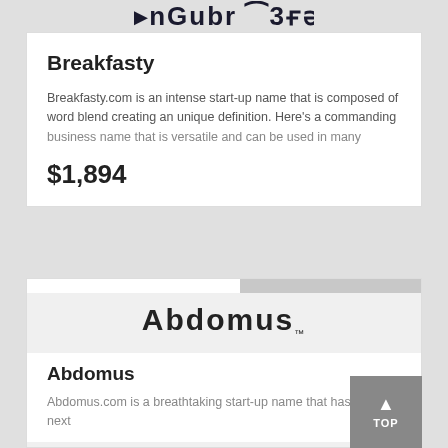[Figure (logo): Partial logo visible at top of page, dark colored icon/text logo]
Breakfasty
Breakfasty.com is an intense start-up name that is composed of word blend creating an unique definition. Here's a commanding business name that is versatile and can be used in many
$1,894
[Figure (logo): Abdomus logo text with trademark symbol]
Abdomus
Abdomus.com is a breathtaking start-up name that has a nice next